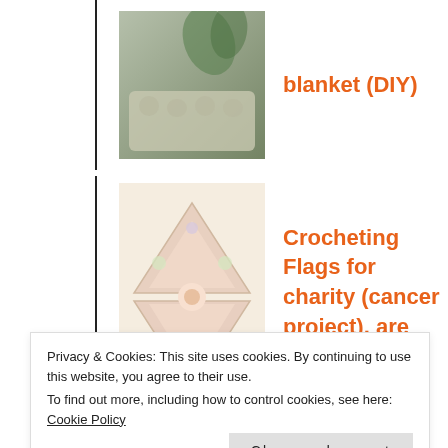[Figure (photo): Photo of a chunky knit blanket on a light wood floor with a plant in the background]
blanket (DIY)
[Figure (photo): Photo of crocheted triangular flags in pastel colors arranged in a diamond shape]
Crocheting Flags for charity (cancer project), are you in?
[Figure (photo): Photo of a DIY tipi/teepee tent indoors with fabric and poles]
DIY: make your own tipi / teepee tent
Privacy & Cookies: This site uses cookies. By continuing to use this website, you agree to their use.
To find out more, including how to control cookies, see here: Cookie Policy
Close and accept
[Figure (photo): Photo of a dog, partially visible at bottom of page]
DIY: Making a dog